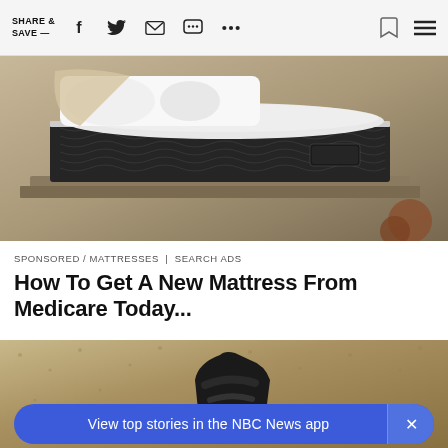SHARE & SAVE —
[Figure (photo): A luxury pillow-top mattress with dark patterned sides on a bed frame, with white bedding and decorative pillows, room setting with warm decor]
SPONSORED / MATTRESSES | SEARCH ADS
How To Get A New Mattress From Medicare Today...
[Figure (photo): Dark sandals or shoes against a textured sandy/stone background]
View top stories in the NBC News app